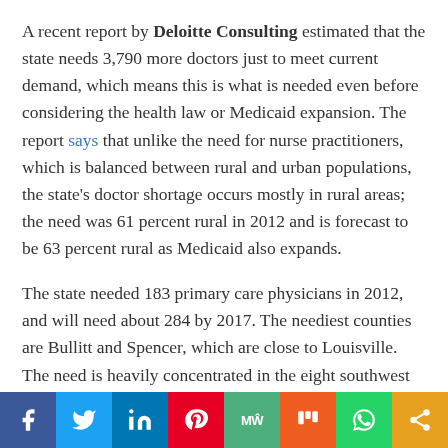A recent report by Deloitte Consulting estimated that the state needs 3,790 more doctors just to meet current demand, which means this is what is needed even before considering the health law or Medicaid expansion. The report says that unlike the need for nurse practitioners, which is balanced between rural and urban populations, the state's doctor shortage occurs mostly in rural areas; the need was 61 percent rural in 2012 and is forecast to be 63 percent rural as Medicaid also expands.
The state needed 183 primary care physicians in 2012, and will need about 284 by 2017. The neediest counties are Bullitt and Spencer, which are close to Louisville. The need is heavily concentrated in the eight southwest border counties, and with Medicaid expansion, it will increase by
[Figure (infographic): Social media sharing bar with icons for Facebook, Twitter, LinkedIn, Pinterest, MeWe, Mix, WhatsApp, and Share]